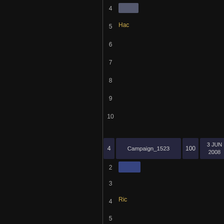| # | Campaign | Count | Date | Sub# | Name |
| --- | --- | --- | --- | --- | --- |
| 4 |  |  |  | 5 | Hac... |
|  |  |  |  | 6 |  |
|  |  |  |  | 7 |  |
|  |  |  |  | 8 |  |
|  |  |  |  | 9 |  |
|  |  |  |  | 10 |  |
| 4 | Campaign_1523 | 100 | 3 JUN 2008 | 1 |  |
|  |  |  |  | 2 |  |
|  |  |  |  | 3 |  |
|  |  |  |  | 4 | Ric... |
|  |  |  |  | 5 |  |
|  |  |  |  | 6 |  |
|  |  |  |  | 7 |  |
|  |  |  |  | 8 |  |
|  |  |  |  | 9 |  |
|  |  |  |  | 10 |  |
| 5 | Campaign_25506 | 70 | 24 MAY 2008 | 1 |  |
|  |  |  |  | 2 |  |
|  |  |  |  | 3 |  |
|  |  |  |  | 4 |  |